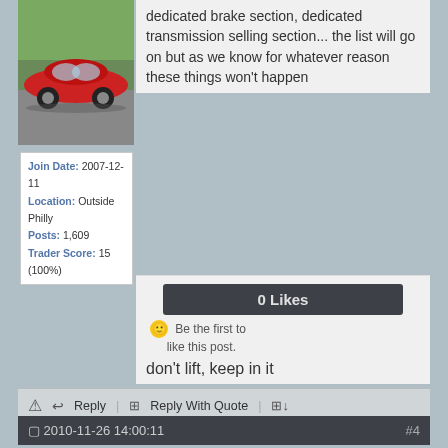[Figure (photo): Red car parked on driveway with trees in background]
| Join Date: | 2007-12-11 |
| Location: | Outside Philly |
| Posts: | 1,609 |
| Trader Score: | 15 (100%) |
dedicated brake section, dedicated transmission selling section... the list will go on but as we know for whatever reason these things won't happen
0 Likes
Be the first to like this post.
don't lift, keep in it
Reply | Reply With Quote
2010-11-26 14:00:11  #4
92SentraSE-R
b14+p11=<3
[Figure (photo): Dashboard speedometer photo]
Originally Posted by lefchop